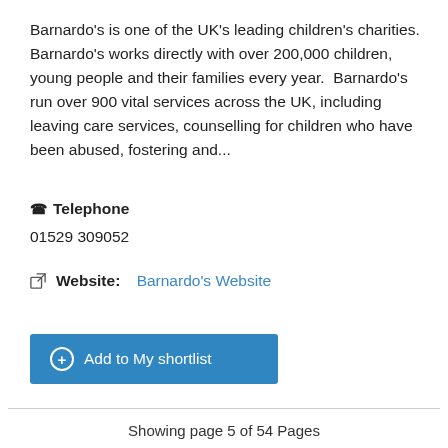Barnardo's is one of the UK's leading children's charities. Barnardo's works directly with over 200,000 children, young people and their families every year.  Barnardo's run over 900 vital services across the UK, including leaving care services, counselling for children who have been abused, fostering and...
Telephone
01529 309052
Website: Barnardo's Website
+ Add to My shortlist
Showing page 5 of 54 Pages
Previous  5  Next